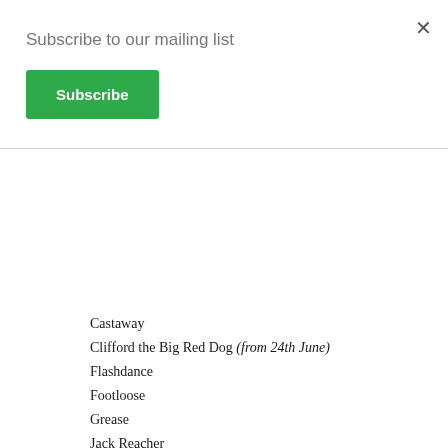×
Subscribe to our mailing list
Subscribe
Castaway
Clifford the Big Red Dog (from 24th June)
Flashdance
Footloose
Grease
Jack Reacher
Mean Girls